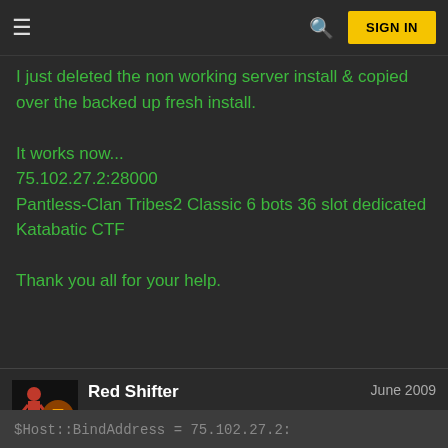SIGN IN
I just deleted the non working server install & copied over the backed up fresh install.

It works now...
75.102.27.2:28000
Pantless-Clan Tribes2 Classic 6 bots 36 slot dedicated Katabatic CTF

Thank you all for your help.
Red Shifter   June 2009
The value of the $Host::BindAddress variable needs to be in quotations.
$Host::BindAddress = 75.102.27.2: